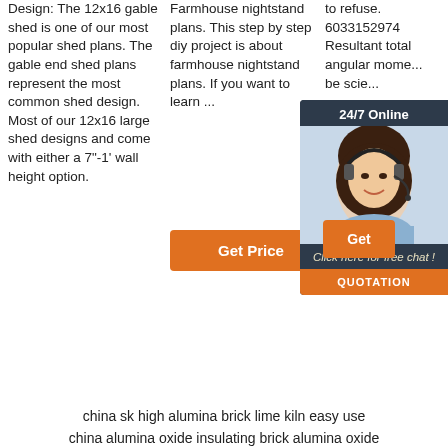Design: The 12x16 gable shed is one of our most popular shed plans. The gable end shed plans represent the most common shed design. Most of our 12x16 large shed designs and come with either a 7"-1' wall height option.
Get Price
Farmhouse nightstand plans. This step by step diy project is about farmhouse nightstand plans. If you want to learn ...
Get Price
to refuse. 6033152974 Resultant total angular mome... be scie...
Get
[Figure (illustration): Chat widget showing 24/7 Online support with a photo of a woman wearing a headset, with 'Click here for free chat!' text and a QUOTATION button]
[Figure (illustration): TOP icon with orange dots forming a triangle above the word TOP in orange]
china sk high alumina brick lime kiln easy use
china alumina oxide insulating brick alumina oxide